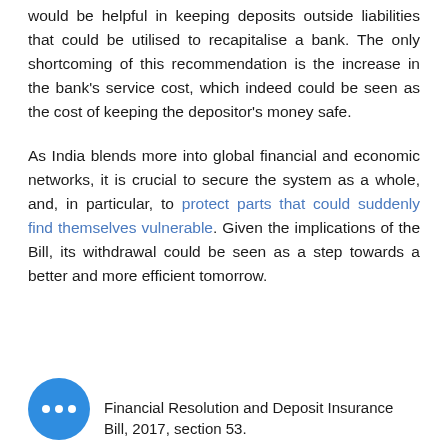would be helpful in keeping deposits outside liabilities that could be utilised to recapitalise a bank. The only shortcoming of this recommendation is the increase in the bank's service cost, which indeed could be seen as the cost of keeping the depositor's money safe.
As India blends more into global financial and economic networks, it is crucial to secure the system as a whole, and, in particular, to protect parts that could suddenly find themselves vulnerable. Given the implications of the Bill, its withdrawal could be seen as a step towards a better and more efficient tomorrow.
Financial Resolution and Deposit Insurance Bill, 2017, section 53.